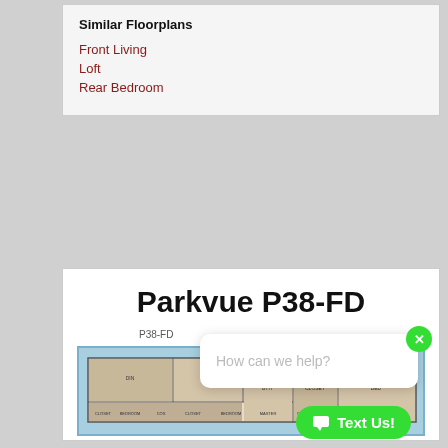Similar Floorplans
Front Living
Loft
Rear Bedroom
Parkvue P38-FD
P38-FD
[Figure (floorplan): A floorplan diagram of the Parkvue P38-FD unit shown from above with a light blue background, with room labels.]
How can we help?
Text Us!